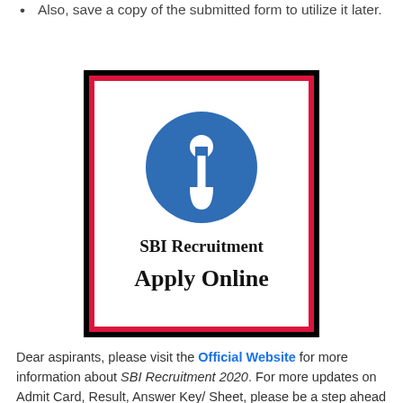Also, save a copy of the submitted form to utilize it later.
[Figure (logo): SBI (State Bank of India) logo with blue circle and keyhole symbol, with text 'SBI Recruitment Apply Online' inside a black and red double border box]
Dear aspirants, please visit the Official Website for more information about SBI Recruitment 2020. For more updates on Admit Card, Result, Answer Key/ Sheet, please be a step ahead with Total Jobs